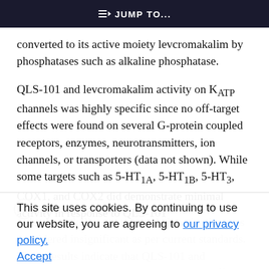JUMP TO...
converted to its active moiety levcromakalim by phosphatases such as alkaline phosphatase.
QLS-101 and levcromakalim activity on KATP channels was highly specific since no off-target effects were found on several G-protein coupled receptors, enzymes, neurotransmitters, ion channels, or transporters (data not shown). While some targets such as 5-HT1A, 5-HT1B, 5-HT3, COX1, and COX2 did demonstrate minimal activity in response to QLS-101
or levcromakalim treatment, their activation was considered insignificant as per current standards. These results indicate that QLS-101 and levcromakalim do not have any common off-target
This site uses cookies. By continuing to use our website, you are agreeing to our privacy policy. Accept